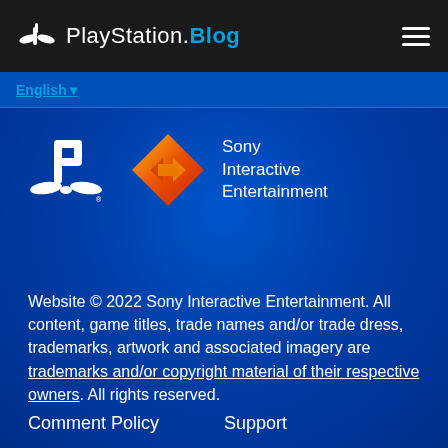PlayStation.Blog
English
[Figure (logo): PlayStation logo (white) and Sony Interactive Entertainment logo (orange diamond with arrows) side by side]
Website © 2022 Sony Interactive Entertainment. All content, game titles, trade names and/or trade dress, trademarks, artwork and associated imagery are trademarks and/or copyright material of their respective owners. All rights reserved.
Comment Policy    Support